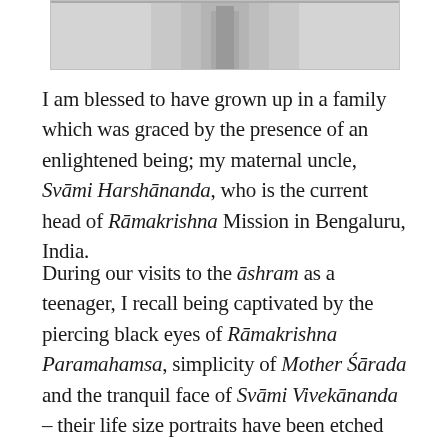[Figure (photo): Partial black and white photograph of a person, cropped at top of page]
I am blessed to have grown up in a family which was graced by the presence of an enlightened being; my maternal uncle, Svāmi Harshānanda, who is the current head of Rāmakrishna Mission in Bengaluru, India.
During our visits to the āshram as a teenager, I recall being captivated by the piercing black eyes of Rāmakrishna Paramahamsa, simplicity of Mother Śārada and the tranquil face of Svāmi Vivekānanda – their life size portraits have been etched deep in my consciousness. I did not fully understand